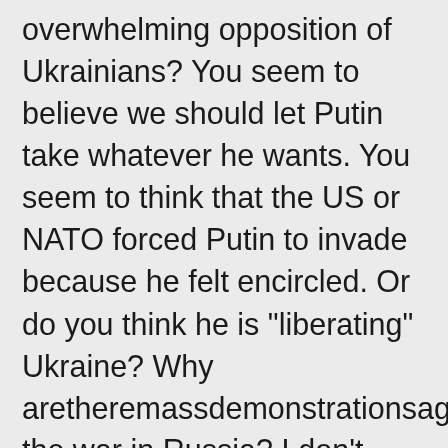overwhelming opposition of Ukrainians? You seem to believe we should let Putin take whatever he wants. You seem to think that the US or NATO forced Putin to invade because he felt encircled. Or do you think he is "liberating" Ukraine? Why aretheremassdemonstrationsagainst the war in Russia? I don't think it's possible to have a rational discussion with you because you are reflexively hostile to Biden, the U.S., and NATO. I never heard a word of criticism from you about Trump. You save your hostility for Hillary Clinton and Biden, whom you loathe. Why do you make excuses for Putin? Why do you rationalize the actions of Putin, who is a